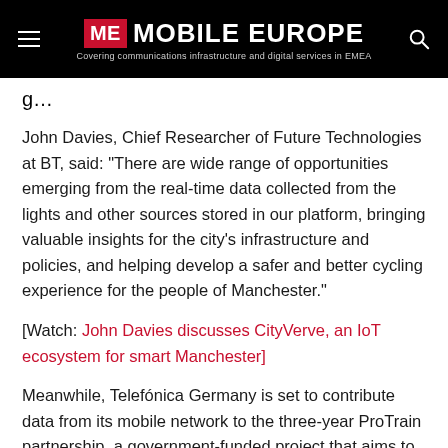ME MOBILE EUROPE – Covering communications infrastructure and digital services in EMEA
John Davies, Chief Researcher of Future Technologies at BT, said: “There are wide range of opportunities emerging from the real-time data collected from the lights and other sources stored in our platform, bringing valuable insights for the city’s infrastructure and policies, and helping develop a safer and better cycling experience for the people of Manchester.”
[Watch: John Davies discusses CityVerve, an IoT ecosystem for smart Manchester]
Meanwhile, Telefónica Germany is set to contribute data from its mobile network to the three-year ProTrain partnership, a government-funded project that aims to